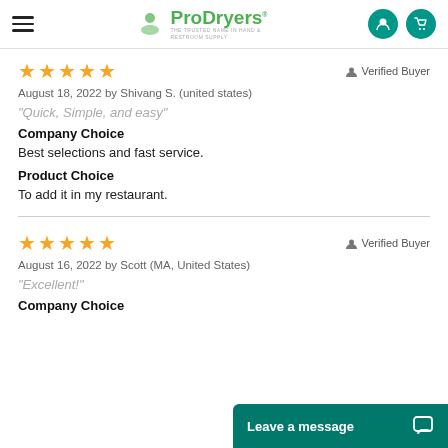ProDryers — THE TRUSTED NAME IN HAND & RESTROOM SUPPLY
★★★★★   Verified Buyer
August 18, 2022 by Shivang S. (united states)
"Quick, Simple, and easy"
Company Choice
Best selections and fast service.
Product Choice
To add it in my restaurant.
★★★★★   Verified Buyer
August 16, 2022 by Scott (MA, United States)
"Excellent!"
Company Choice
Leave a message